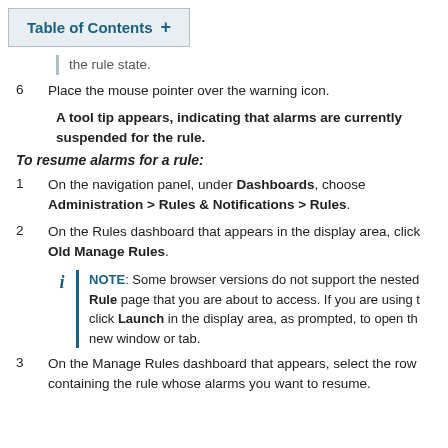Table of Contents +
the rule state.
6   Place the mouse pointer over the warning icon.
A tool tip appears, indicating that alarms are currently suspended for the rule.
To resume alarms for a rule:
1   On the navigation panel, under Dashboards, choose Administration > Rules & Notifications > Rules.
2   On the Rules dashboard that appears in the display area, click Old Manage Rules.
NOTE: Some browser versions do not support the nested Rule page that you are about to access. If you are using t click Launch in the display area, as prompted, to open the new window or tab.
3   On the Manage Rules dashboard that appears, select the row containing the rule whose alarms you want to resume.